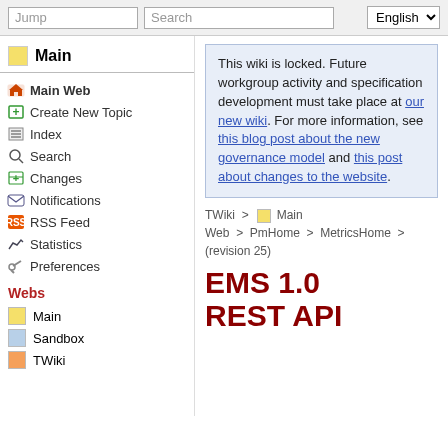Jump | Search | English
Main
Main Web
Create New Topic
Index
Search
Changes
Notifications
RSS Feed
Statistics
Preferences
Webs
Main
Sandbox
TWiki
This wiki is locked. Future workgroup activity and specification development must take place at our new wiki. For more information, see this blog post about the new governance model and this post about changes to the website.
TWiki > Main Web > PmHome > MetricsHome > (revision 25)
EMS 1.0 REST API